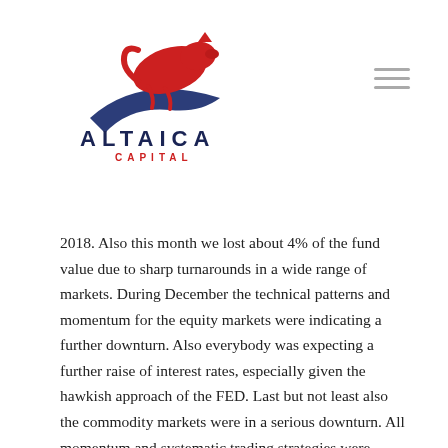[Figure (logo): Altaica Capital logo: a stylized red panther above a blue swoosh, with 'ALTAICA' in dark navy capitals and 'CAPITAL' in red smaller capitals below]
2018. Also this month we lost about 4% of the fund value due to sharp turnarounds in a wide range of markets. During December the technical patterns and momentum for the equity markets were indicating a further downturn. Also everybody was expecting a further raise of interest rates, especially given the hawkish approach of the FED. Last but not least also the commodity markets were in a serious downturn. All momentum and systematic trading strategies were positioned for the extension of the December directions of the markets. January was however a month which started with movements into different directions on the markets due to a more reasonable approach of the US President into the direction of the FED, which itself became more dovish, and China. This in